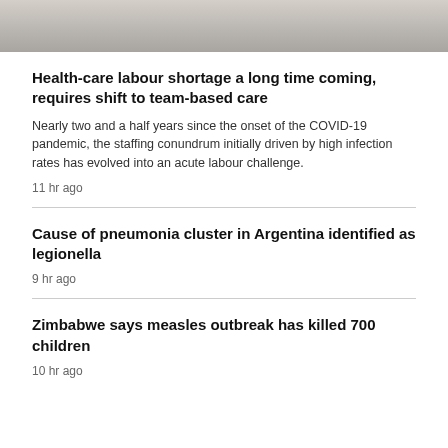[Figure (photo): Partial photo showing what appears to be a hospital or medical workspace with a yellow medical waste bin and gloved hands visible]
Health-care labour shortage a long time coming, requires shift to team-based care
Nearly two and a half years since the onset of the COVID-19 pandemic, the staffing conundrum initially driven by high infection rates has evolved into an acute labour challenge.
11 hr ago
Cause of pneumonia cluster in Argentina identified as legionella
9 hr ago
Zimbabwe says measles outbreak has killed 700 children
10 hr ago